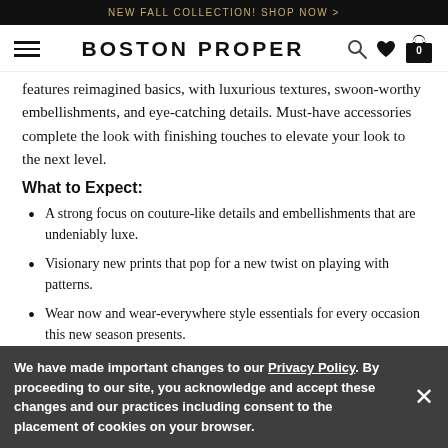NEW FALL COLLECTION! SHOP NOW >
[Figure (screenshot): Boston Proper website navigation bar with hamburger menu, brand name, search icon, heart icon, and shopping bag icon with 0 items]
features reimagined basics, with luxurious textures, swoon-worthy embellishments, and eye-catching details. Must-have accessories complete the look with finishing touches to elevate your look to the next level.
What to Expect:
A strong focus on couture-like details and embellishments that are undeniably luxe.
Visionary new prints that pop for a new twist on playing with patterns.
Wear now and wear-everywhere style essentials for every occasion this new season presents.
We have made important changes to our Privacy Policy. By proceeding to our site, you acknowledge and accept these changes and our practices including consent to the placement of cookies on your browser.